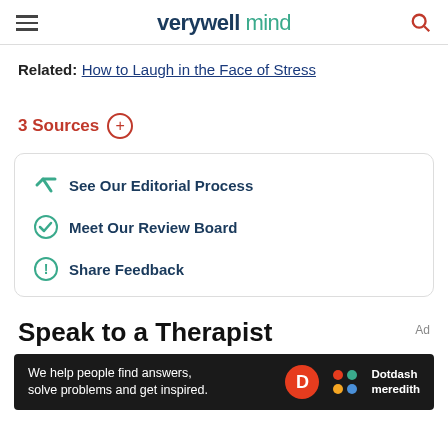verywell mind
Related: How to Laugh in the Face of Stress
3 Sources +
See Our Editorial Process
Meet Our Review Board
Share Feedback
Speak to a Therapist
[Figure (screenshot): Dotdash Meredith advertisement banner: 'We help people find answers, solve problems and get inspired.']